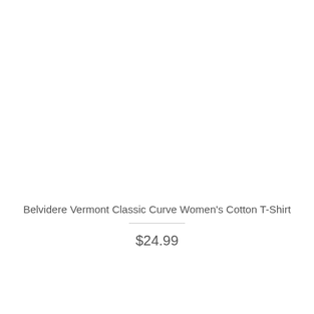Belvidere Vermont Classic Curve Women's Cotton T-Shirt
$24.99